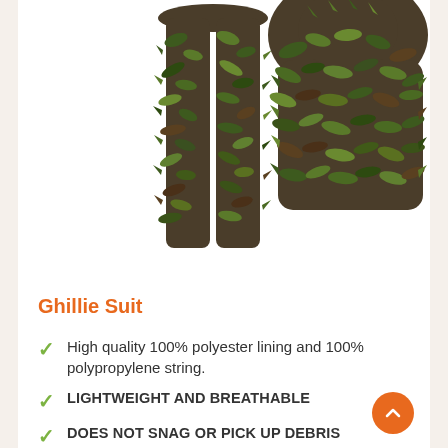[Figure (photo): Product photo showing a ghillie suit camouflage outfit — pants on the left and jacket/top on the right, covered in 3D leaf-like camouflage material in green and brown tones, displayed on a white background.]
Ghillie Suit
High quality 100% polyester lining and 100% polypropylene string.
LIGHTWEIGHT AND BREATHABLE
DOES NOT SNAG OR PICK UP DEBRIS